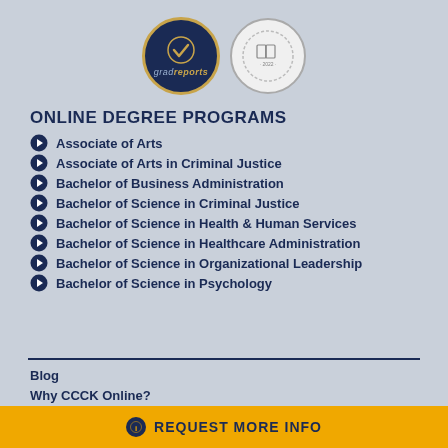[Figure (illustration): Two circular badges: a dark navy Gradreports badge with gold border and a checkmark, and a light gray award seal badge with '2022' text]
ONLINE DEGREE PROGRAMS
Associate of Arts
Associate of Arts in Criminal Justice
Bachelor of Business Administration
Bachelor of Science in Criminal Justice
Bachelor of Science in Health & Human Services
Bachelor of Science in Healthcare Administration
Bachelor of Science in Organizational Leadership
Bachelor of Science in Psychology
Blog
Why CCCK Online?
Financial Services
REQUEST MORE INFO